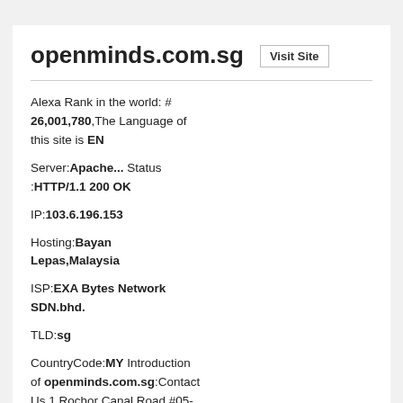openminds.com.sg
Alexa Rank in the world: # 26,001,780,The Language of this site is EN
Server:Apache... Status :HTTP/1.1 200 OK
IP:103.6.196.153
Hosting:Bayan Lepas,Malaysia
ISP:EXA Bytes Network SDN.bhd.
TLD:sg
CountryCode:MY Introduction of openminds.com.sg:Contact Us 1 Rochor Canal Road #05-